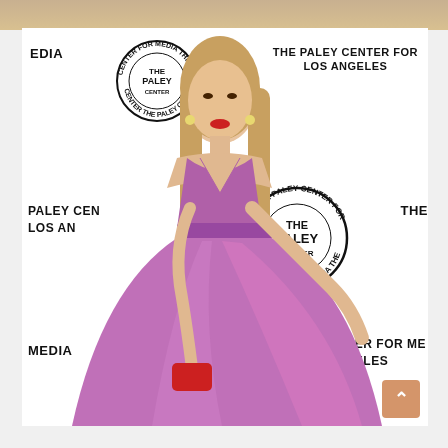[Figure (photo): A woman in a purple/mauve halter-style flowing gown posing at The Paley Center for Media Los Angeles event. She has blonde hair, red lipstick, and is holding out the skirt of her dress. The background is a white step-and-repeat backdrop with 'THE PALEY CENTER FOR LOS ANGELES' text and circular Paley Center for Media logos. She carries a small red clutch. A coral/tan scroll-to-top button is visible in the bottom right corner.]